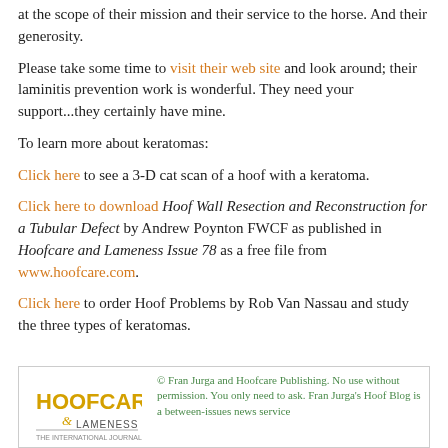at the scope of their mission and their service to the horse. And their generosity.
Please take some time to visit their web site and look around; their laminitis prevention work is wonderful. They need your support...they certainly have mine.
To learn more about keratomas:
Click here to see a 3-D cat scan of a hoof with a keratoma.
Click here to download Hoof Wall Resection and Reconstruction for a Tubular Defect by Andrew Poynton FWCF as published in Hoofcare and Lameness Issue 78 as a free file from www.hoofcare.com.
Click here to order Hoof Problems by Rob Van Nassau and study the three types of keratomas.
© Fran Jurga and Hoofcare Publishing. No use without permission. You only need to ask. Fran Jurga's Hoof Blog is a between-issues news service